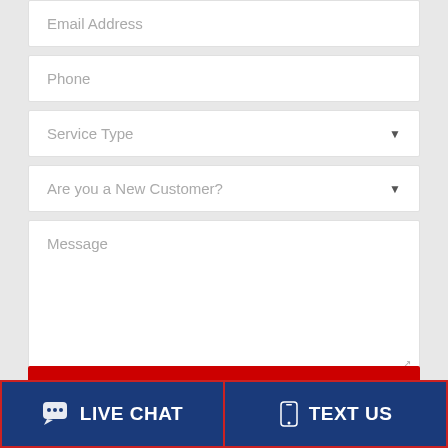[Figure (screenshot): Web contact form showing fields: Email Address, Phone, Service Type (dropdown), Are you a New Customer? (dropdown), Message (textarea), partial red submit button at bottom, and a bottom bar with Live Chat and Text Us buttons.]
Email Address
Phone
Service Type
Are you a New Customer?
Message
LIVE CHAT
TEXT US